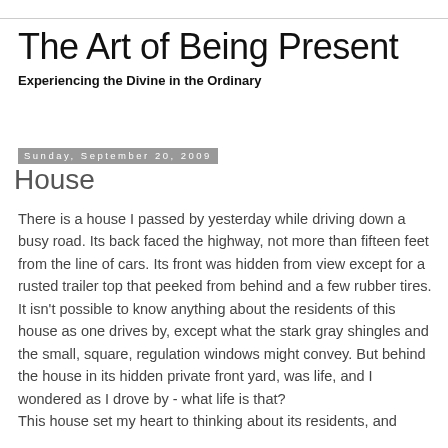The Art of Being Present
Experiencing the Divine in the Ordinary
Sunday, September 20, 2009
House
There is a house I passed by yesterday while driving down a busy road. Its back faced the highway, not more than fifteen feet from the line of cars. Its front was hidden from view except for a rusted trailer top that peeked from behind and a few rubber tires. It isn't possible to know anything about the residents of this house as one drives by, except what the stark gray shingles and the small, square, regulation windows might convey. But behind the house in its hidden private front yard, was life, and I wondered as I drove by - what life is that?
This house set my heart to thinking about its residents, and